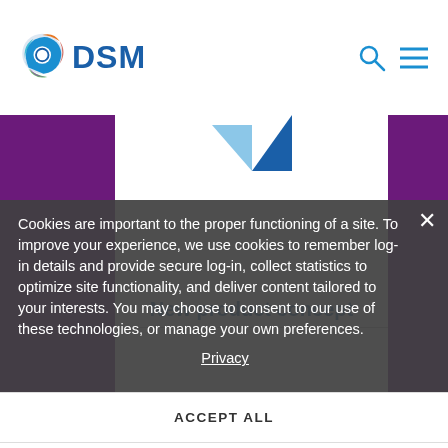[Figure (logo): DSM company logo with colorful swirl icon and DSM text in blue]
New product concept
Cookies are important to the proper functioning of a site. To improve your experience, we use cookies to remember log-in details and provide secure log-in, collect statistics to optimize site functionality, and deliver content tailored to your interests. You may choose to consent to our use of these technologies, or manage your own preferences.
Privacy
ACCEPT ALL
DECLINE ALL
MANAGE SETTINGS